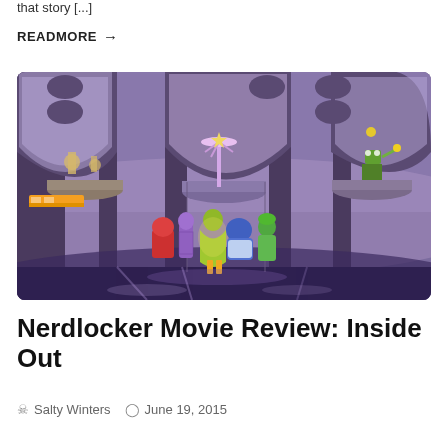that story [...]
READMORE →
[Figure (photo): Scene from the Pixar animated film Inside Out showing characters Joy, Sadness, Anger, Fear, and Disgust standing in a control room overlooking colorful floating islands of memory in a purple landscape.]
Nerdlocker Movie Review: Inside Out
Salty Winters   June 19, 2015